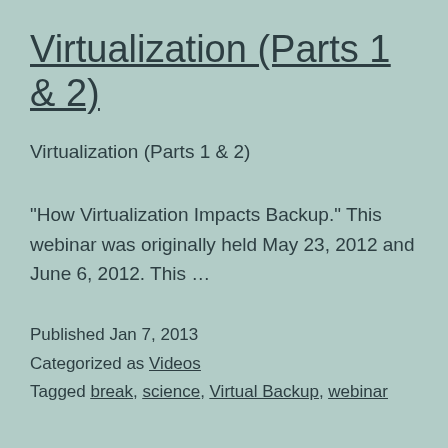Virtualization (Parts 1 & 2)
Virtualization (Parts 1 & 2)
"How Virtualization Impacts Backup." This webinar was originally held May 23, 2012 and June 6, 2012. This …
Published Jan 7, 2013
Categorized as Videos
Tagged break, science, Virtual Backup, webinar